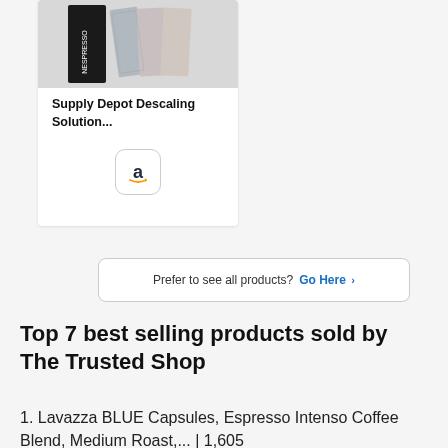[Figure (photo): Product image of Nespresso Supply Depot Descaling Solution with packaging visible]
Supply Depot Descaling Solution...
[Figure (logo): Amazon 'a' logo button]
Prefer to see all products? Go Here >
Top 7 best selling products sold by The Trusted Shop
1. Lavazza BLUE Capsules, Espresso Intenso Coffee Blend, Medium Roast,... | 1,605